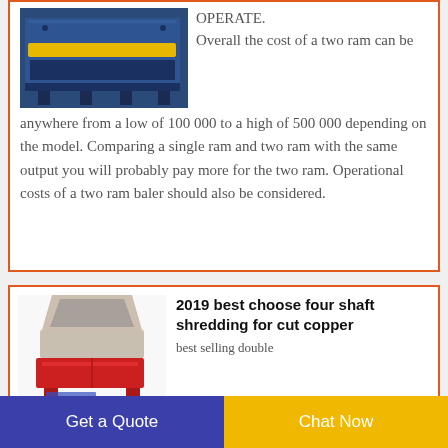[Figure (photo): Industrial blue baler machine with yellow roller bar]
OPERATE. Overall the cost of a two ram can be anywhere from a low of 100 000 to a high of 500 000 depending on the model. Comparing a single ram and two ram with the same output you will probably pay more for the two ram. Operational costs of a two ram baler should also be considered.
[Figure (photo): Red and grey four shaft shredding machine for cut copper]
2019 best choose four shaft shredding for cut copper
best selling double
Get a Quote
Chat Now